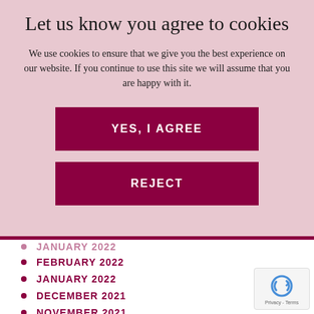Let us know you agree to cookies
We use cookies to ensure that we give you the best experience on our website. If you continue to use this site we will assume that you are happy with it.
FEBRUARY 2022
JANUARY 2022
DECEMBER 2021
NOVEMBER 2021
OCTOBER 2021
AUGUST 2021
JULY 2021
JUNE 2021